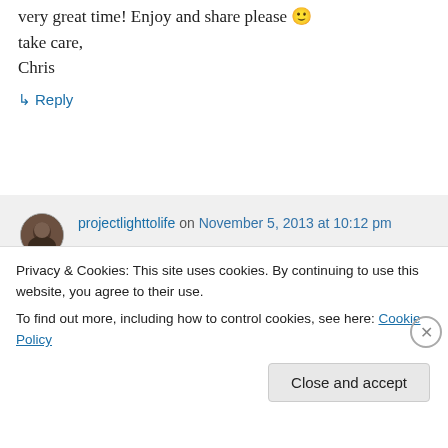Hey Christine, congrats, I'm sure you will have a very great time! Enjoy and share please 🙂 take care, Chris
↳ Reply
projectlighttolife on November 5, 2013 at 10:12 pm
Thanks so much Chris :)!
Privacy & Cookies: This site uses cookies. By continuing to use this website, you agree to their use.
To find out more, including how to control cookies, see here: Cookie Policy
Close and accept